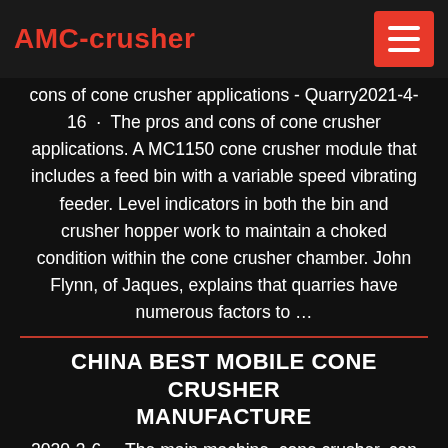AMC-crusher
cons of cone crusher applications - Quarry2021-4-16 · The pros and cons of cone crusher applications. A MC1150 cone crusher module that includes a feed bin with a variable speed vibrating feeder. Level indicators in both the bin and crusher hopper work to maintain a choked condition within the cone crusher chamber. John Flynn, of Jaques, explains that quarries have numerous factors to …
CHINA BEST MOBILE CONE CRUSHER MANUFACTURE
2020-3-6 · The main machine, cone crusher, can be freely matched with spring cone crusher, multi-cylinder cone crusher, single cylinder cone crusher, etc. Flexible airframe, intelligent operation and efficient